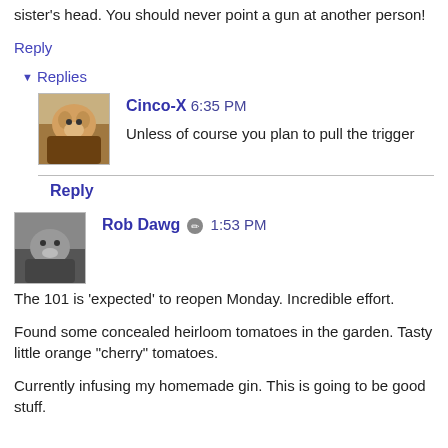sister's head. You should never point a gun at another person!
Reply
▾ Replies
Cinco-X 6:35 PM
Unless of course you plan to pull the trigger
Reply
Rob Dawg 1:53 PM
The 101 is 'expected' to reopen Monday. Incredible effort.
Found some concealed heirloom tomatoes in the garden. Tasty little orange "cherry" tomatoes.
Currently infusing my homemade gin. This is going to be good stuff.